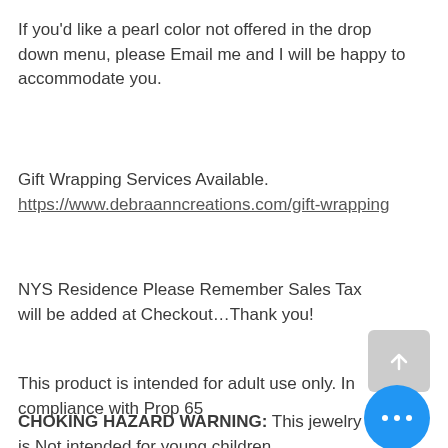If you'd like a pearl color not offered in the drop down menu, please Email me and I will be happy to accommodate you.
Gift Wrapping Services Available.
https://www.debraanncreations.com/gift-wrapping
NYS Residence Please Remember Sales Tax will be added at Checkout…Thank you!
This product is intended for adult use only. In compliance with Prop 65
CHOKING HAZARD WARNING: This jewelry is Not intended for young children.
Babies and young children may choke on